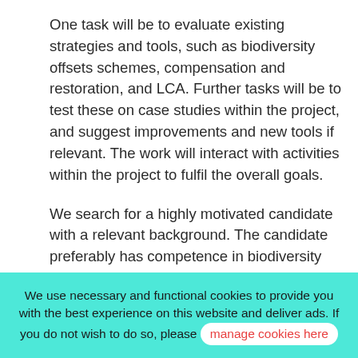One task will be to evaluate existing strategies and tools, such as biodiversity offsets schemes, compensation and restoration, and LCA. Further tasks will be to test these on case studies within the project, and suggest improvements and new tools if relevant. The work will interact with activities within the project to fulfil the overall goals.
We search for a highly motivated candidate with a relevant background. The candidate preferably has competence in biodiversity assessments and indicator development, with additional knowledge in either environmental impact assessment or
We use necessary and functional cookies to provide you with the best experience on this website and deliver ads. If you do not wish to do so, please manage cookies here